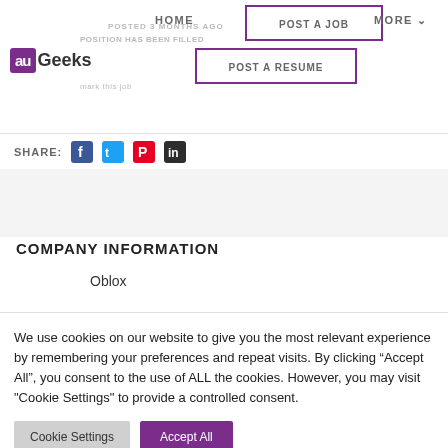[Figure (logo): auGeeks logo with purple box containing 'au' and 'Geeks' text]
HOME  POST A JOB  POST A RESUME  MORE
POSTED 3 MONTHS AGO
POSITION HAS BEEN FILLED
mark this job
SHARE:
COMPANY INFORMATION
Oblox
We use cookies on our website to give you the most relevant experience by remembering your preferences and repeat visits. By clicking “Accept All”, you consent to the use of ALL the cookies. However, you may visit "Cookie Settings" to provide a controlled consent.
Cookie Settings  Accept All